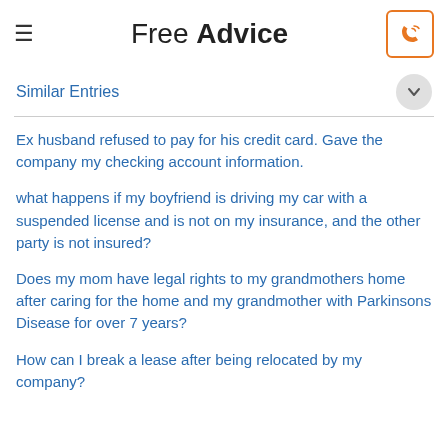Free Advice
Similar Entries
Ex husband refused to pay for his credit card. Gave the company my checking account information.
what happens if my boyfriend is driving my car with a suspended license and is not on my insurance, and the other party is not insured?
Does my mom have legal rights to my grandmothers home after caring for the home and my grandmother with Parkinsons Disease for over 7 years?
How can I break a lease after being relocated by my company?